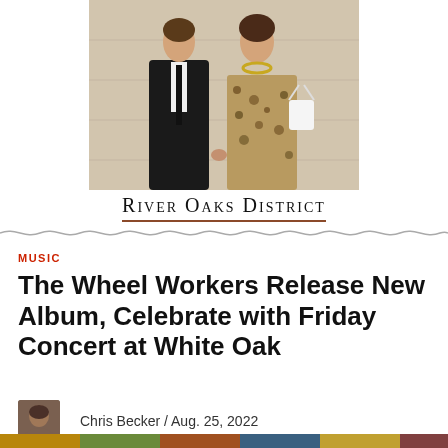[Figure (photo): A man in a black suit and tie holding hands with a woman in a leopard-print strapless dress and gold chain necklace, with a white handbag, standing against a stone wall.]
River Oaks District
MUSIC
The Wheel Workers Release New Album, Celebrate with Friday Concert at White Oak
Chris Becker / Aug. 25, 2022
[Figure (photo): Partial bottom strip image, appears to be a colorful concert or event photo.]